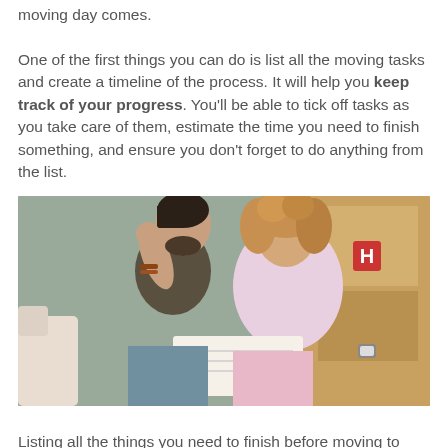moving day comes. One of the first things you can do is list all the moving tasks and create a timeline of the process. It will help you keep track of your progress. You'll be able to tick off tasks as you take care of them, estimate the time you need to finish something, and ensure you don't forget to do anything from the list.
[Figure (photo): A man and a woman sitting together looking at a document or notebook. The man has dark hair and a beard, wearing a dark grey t-shirt, and resting his hand on his forehead. The woman has curly hair and is wearing a pink top. There are moving boxes visible in the background.]
Listing all the things you need to finish before moving to Charleston will help you stay